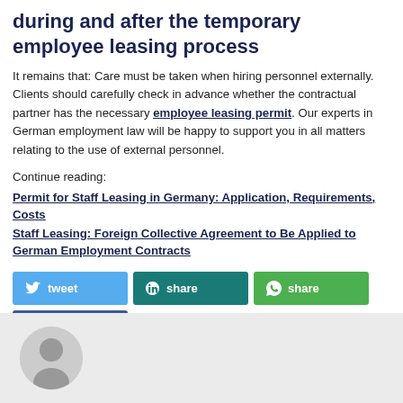during and after the temporary employee leasing process
It remains that: Care must be taken when hiring personnel externally. Clients should carefully check in advance whether the contractual partner has the necessary employee leasing permit. Our experts in German employment law will be happy to support you in all matters relating to the use of external personnel.
Continue reading:
Permit for Staff Leasing in Germany: Application, Requirements, Costs
Staff Leasing: Foreign Collective Agreement to Be Applied to German Employment Contracts
[Figure (other): Social sharing buttons: tweet (Twitter/blue), share (XING/teal), share (WhatsApp/green), share (Facebook/dark blue)]
[Figure (photo): Author photo: bald man with glasses, circular crop, on gray background]